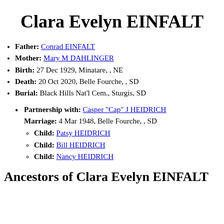Clara Evelyn EINFALT
Father: Conrad EINFALT
Mother: Mary M DAHLINGER
Birth: 27 Dec 1929, Minatare, , NE
Death: 20 Oct 2020, Belle Fourche, , SD
Burial: Black Hills Nat'l Cem., Sturgis, SD
Partnership with: Casper "Cap" J HEIDRICH
Marriage: 4 Mar 1948, Belle Fourche, , SD
Child: Patsy HEIDRICH
Child: Bill HEIDRICH
Child: Nancy HEIDRICH
Ancestors of Clara Evelyn EINFALT